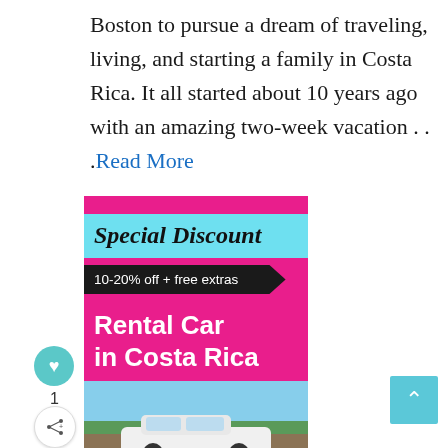Boston to pursue a dream of traveling, living, and starting a family in Costa Rica. It all started about 10 years ago with an amazing two-week vacation . . .Read More
[Figure (infographic): Advertisement banner for rental car in Costa Rica with special discount 10-20% off + free extras, showing a white SUV on a dirt road near the ocean]